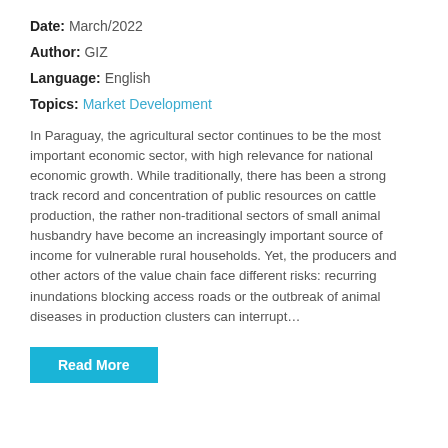Date: March/2022
Author: GIZ
Language: English
Topics: Market Development
In Paraguay, the agricultural sector continues to be the most important economic sector, with high relevance for national economic growth. While traditionally, there has been a strong track record and concentration of public resources on cattle production, the rather non-traditional sectors of small animal husbandry have become an increasingly important source of income for vulnerable rural households. Yet, the producers and other actors of the value chain face different risks: recurring inundations blocking access roads or the outbreak of animal diseases in production clusters can interrupt...
Read More